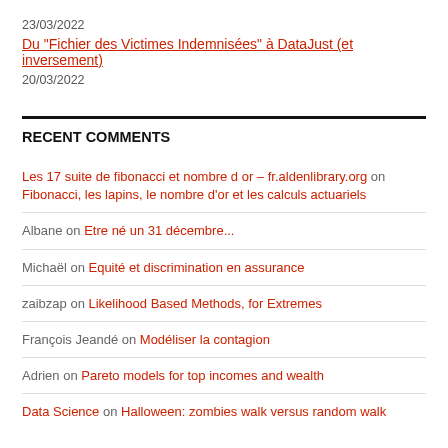23/03/2022
Du "Fichier des Victimes Indemnisées" à DataJust (et inversement)
20/03/2022
RECENT COMMENTS
Les 17 suite de fibonacci et nombre d or – fr.aldenlibrary.org on Fibonacci, les lapins, le nombre d'or et les calculs actuariels
Albane on Etre né un 31 décembre...
Michaël on Equité et discrimination en assurance
zaibzap on Likelihood Based Methods, for Extremes
François Jeandé on Modéliser la contagion
Adrien on Pareto models for top incomes and wealth
Data Science on Halloween: zombies walk versus random walk